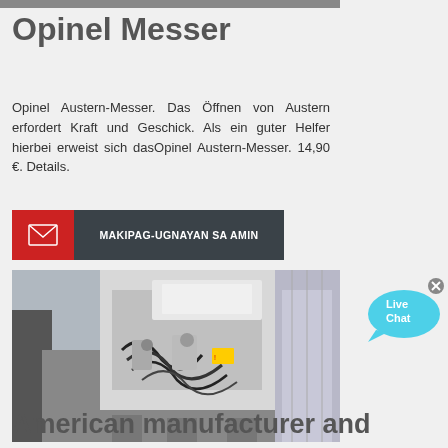Opinel Messer
Opinel Austern-Messer. Das Öffnen von Austern erfordert Kraft und Geschick. Als ein guter Helfer hierbei erweist sich dasOpinel Austern-Messer. 14,90 €. Details.
[Figure (other): Contact button with envelope icon and text MAKIPAG-UGNAYAN SA AMIN on dark background]
[Figure (photo): Industrial machinery or equipment in white casing with cables and mechanical components]
[Figure (other): Live Chat bubble icon in cyan/blue color]
American manufacturer and importer